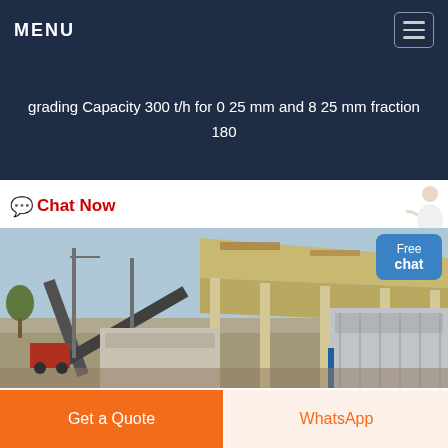MENU
grading Capacity 300 t/h for 0 25 mm and 8 25 mm fraction 180
Chat Now
[Figure (photo): Industrial aggregate screening/grading machine on a construction site with conveyor belt and large canopy structure, outdoor setting with clear sky]
Free chat
Get a Quote
WhatsApp